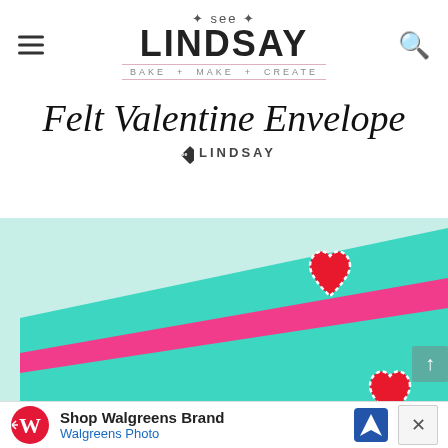See LINDSAY — BAKE + MAKE + CREATE
Felt Valentine Envelope
[Figure (logo): See Lindsay brand diamond logo with LINDSAY text]
[Figure (photo): Photo of teal and pink felt sheets arranged as envelopes with red heart felt decorations stitched in white thread on a light blue background]
Shop Walgreens Brand Walgreens Photo